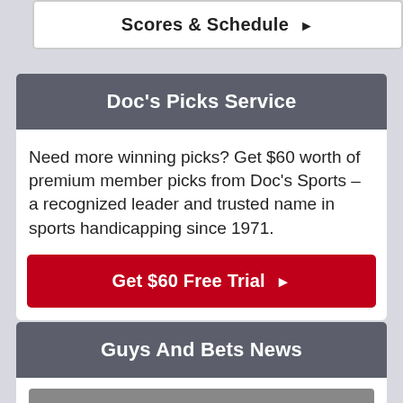Scores & Schedule ▶
Doc's Picks Service
Need more winning picks? Get $60 worth of premium member picks from Doc's Sports – a recognized leader and trusted name in sports handicapping since 1971.
Get $60 Free Trial ▶
Guys And Bets News
[Figure (photo): Placeholder image area for news article thumbnail]